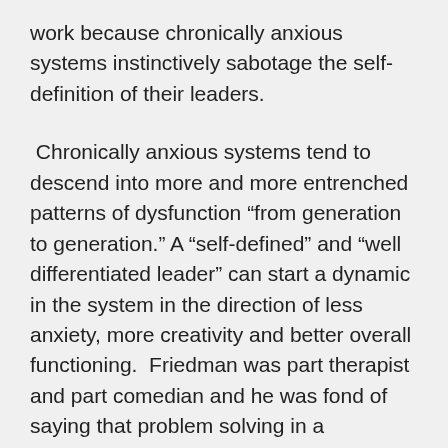work because chronically anxious systems instinctively sabotage the self-definition of their leaders.
Chronically anxious systems tend to descend into more and more entrenched patterns of dysfunction “from generation to generation.” A “self-defined” and “well differentiated leader” can start a dynamic in the system in the direction of less anxiety, more creativity and better overall functioning.  Friedman was part therapist and part comedian and he was fond of saying that problem solving in a chronically anxious system was like a “brainstem storming session.” In a chronically anxious system, people are stuck in flight, fright or freeze mode and are reactive